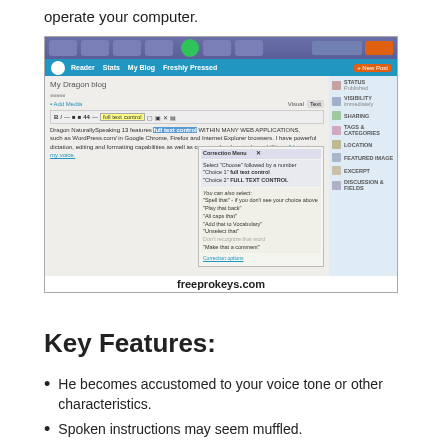operate your computer.
[Figure (screenshot): Screenshot of WordPress blog editor with Dragon NaturallySpeaking correction menu open showing 'full text control' options. Watermark text 'freeprokeys.com' visible at bottom.]
Key Features:
He becomes accustomed to your voice tone or other characteristics.
Spoken instructions may seem muffled.